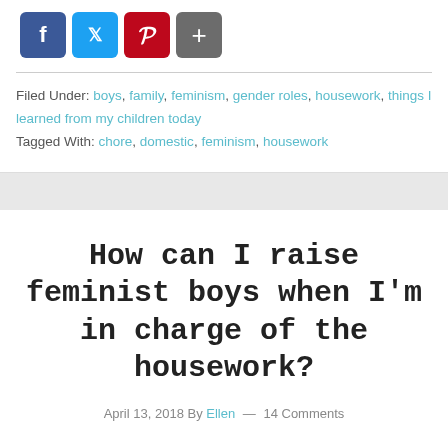[Figure (other): Social sharing buttons: Facebook (blue), Twitter (blue), Pinterest (red), and a plus/share button (gray)]
Filed Under: boys, family, feminism, gender roles, housework, things I learned from my children today
Tagged With: chore, domestic, feminism, housework
How can I raise feminist boys when I'm in charge of the housework?
April 13, 2018 By Ellen — 14 Comments